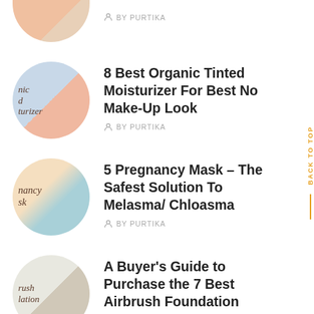[Figure (photo): Circular thumbnail of a person touching their face, partial view at top]
BY PURTIKA
[Figure (photo): Circular thumbnail with 'organic tinted moisturizer' text and woman touching face]
8 Best Organic Tinted Moisturizer For Best No Make-Up Look
BY PURTIKA
[Figure (photo): Circular thumbnail with 'pregnancy mask' text and woman applying mask]
5 Pregnancy Mask – The Safest Solution To Melasma/ Chloasma
BY PURTIKA
[Figure (photo): Circular thumbnail with 'airbrush foundation' text and person applying foundation]
A Buyer's Guide to Purchase the 7 Best Airbrush Foundation